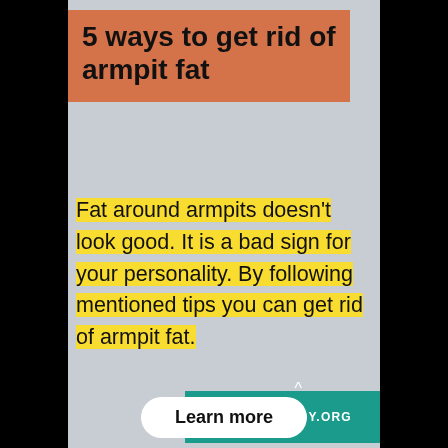5 ways to get rid of armpit fat
Fat around armpits doesn't look good. It is a bad sign for your personality. By following mentioned tips you can get rid of armpit fat.
HOME-REMEDY.ORG
Learn more